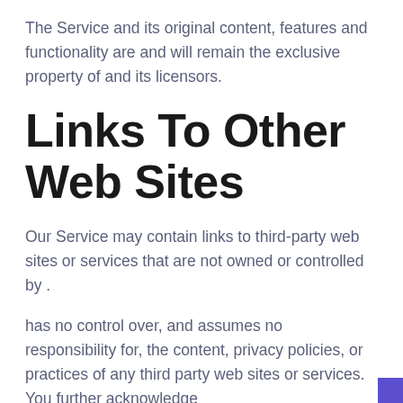The Service and its original content, features and functionality are and will remain the exclusive property of and its licensors.
Links To Other Web Sites
Our Service may contain links to third-party web sites or services that are not owned or controlled by .
has no control over, and assumes no responsibility for, the content, privacy policies, or practices of any third party web sites or services. You further acknowledge